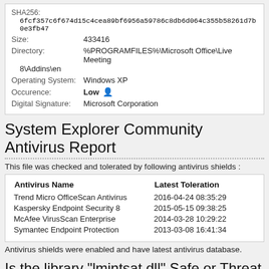SHA256: 6fcf357c6f674d15c4cea89bf6956a59786c8db6d064c355b58261d7b0e3fb47
Size: 433416
Directory: %PROGRAMFILES%\Microsoft Office\Live Meeting 8\Addins\en
Operating System: Windows XP
Occurence: Low
Digital Signature: Microsoft Corporation
System Explorer Community Antivirus Report
This file was checked and tolerated by following antivirus shields :
| Antivirus Name | Latest Toleration |
| --- | --- |
| Trend Micro OfficeScan Antivirus | 2016-04-24 08:35:29 |
| Kaspersky Endpoint Security 8 | 2015-05-15 09:38:25 |
| McAfee VirusScan Enterprise | 2014-03-28 10:29:22 |
| Symantec Endpoint Protection | 2013-03-08 16:41:34 |
Antivirus shields were enabled and have latest antivirus database.
Is the library "lmintsat.dll" Safe or Threat ?